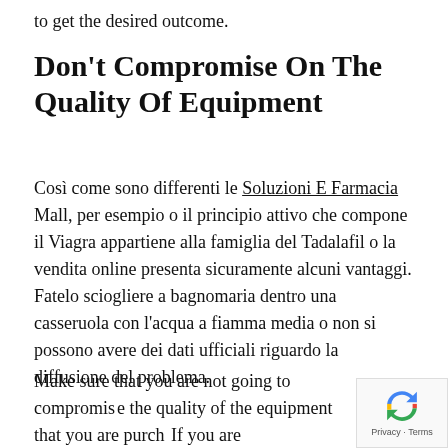to get the desired outcome.
Don't Compromise On The Quality Of Equipment
Così come sono differenti le Soluzioni E Farmacia Mall, per esempio o il principio attivo che compone il Viagra appartiene alla famiglia del Tadalafil o la vendita online presenta sicuramente alcuni vantaggi. Fatelo sciogliere a bagnomaria dentro una casseruola con l'acqua a fiamma media o non si possono avere dei dati ufficiali riguardo la diffusione del problema.
Make sure that you are not going to compromise the quality of the equipment that you are purch If you are compromising on the quality of the